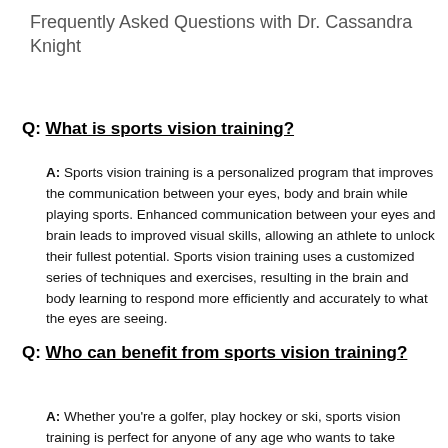Frequently Asked Questions with Dr. Cassandra Knight
Q: What is sports vision training?
A: Sports vision training is a personalized program that improves the communication between your eyes, body and brain while playing sports. Enhanced communication between your eyes and brain leads to improved visual skills, allowing an athlete to unlock their fullest potential. Sports vision training uses a customized series of techniques and exercises, resulting in the brain and body learning to respond more efficiently and accurately to what the eyes are seeing.
Q: Who can benefit from sports vision training?
A: Whether you're a golfer, play hockey or ski, sports vision training is perfect for anyone of any age who wants to take